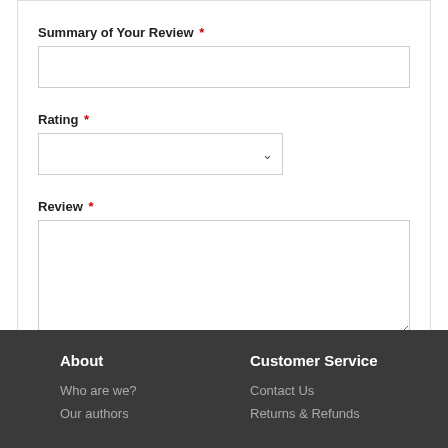Summary of Your Review *
Rating *
Review *
Submit Review
About | Who are we? | Our authors | Customer Service | Contact Us | Returns & Refunds